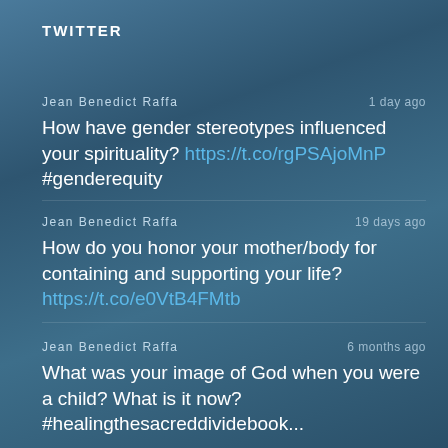TWITTER
Jean Benedict Raffa · 1 day ago
How have gender stereotypes influenced your spirituality? https://t.co/rgPSAjoMnP #genderequity
Jean Benedict Raffa · 19 days ago
How do you honor your mother/body for containing and supporting your life? https://t.co/e0VtB4FMtb
Jean Benedict Raffa · 6 months ago
What was your image of God when you were a child? What is it now? #healingthesacreddividebook...